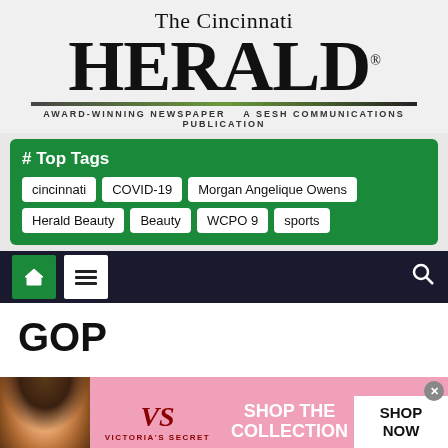The Cincinnati HERALD® AWARD-WINNING NEWSPAPER A SESH COMMUNICATIONS PUBLICATION
# Top Tags
cincinnati
COVID-19
Morgan Angelique Owens
Herald Beauty
Beauty
WCPO 9
sports
[Figure (screenshot): Navigation bar with home icon, hamburger menu, and search icon on dark background]
GOP
[Figure (photo): Victoria's Secret advertisement banner with model, VS logo, 'SHOP THE COLLECTION' text, and 'SHOP NOW' button on pink background]